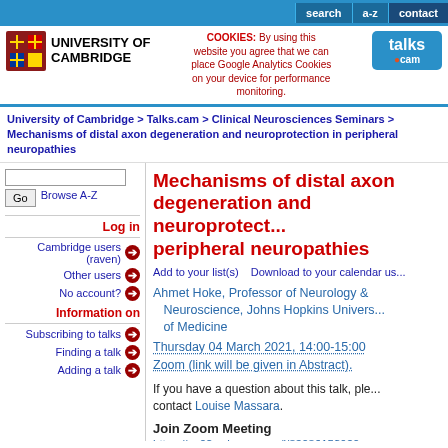search   a-z   contact
[Figure (logo): University of Cambridge shield logo and wordmark, plus Talks.cam logo]
COOKIES: By using this website you agree that we can place Google Analytics Cookies on your device for performance monitoring.
University of Cambridge > Talks.cam > Clinical Neurosciences Seminars > Mechanisms of distal axon degeneration and neuroprotection in peripheral neuropathies
Mechanisms of distal axon degeneration and neuroprotection in peripheral neuropathies
Add to your list(s)    Download to your calendar us...
Ahmet Hoke, Professor of Neurology & Neuroscience, Johns Hopkins University of Medicine
Thursday 04 March 2021, 14:00-15:00
Zoom (link will be given in Abstract).
If you have a question about this talk, please contact Louise Massara.
Join Zoom Meeting
https://us02web.zoom.us/j/8208615392...
Log in
Cambridge users (raven)
Other users
No account?
Information on
Subscribing to talks
Finding a talk
Adding a talk